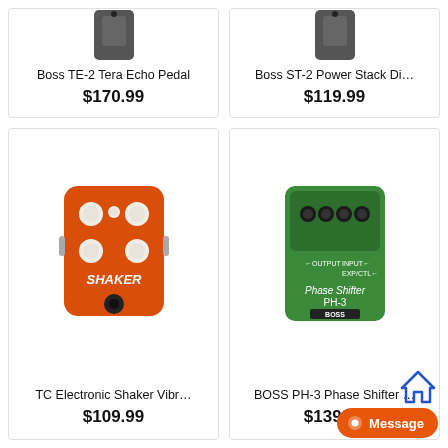[Figure (photo): Boss TE-2 Tera Echo Pedal product image (partial, top cut off)]
Boss TE-2 Tera Echo Pedal
$170.99
[Figure (photo): Boss ST-2 Power Stack Di... product image (partial, top cut off)]
Boss ST-2 Power Stack Di…
$119.99
[Figure (photo): TC Electronic Shaker Vibrato pedal, orange body with white knobs]
TC Electronic Shaker Vibr…
$109.99
[Figure (photo): BOSS PH-3 Phase Shifter pedal, green body]
BOSS PH-3 Phase Shifter …
$139.99